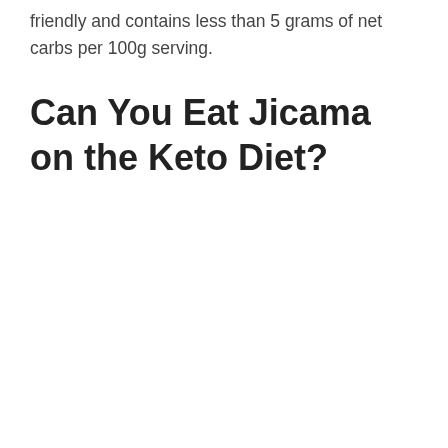friendly and contains less than 5 grams of net carbs per 100g serving.
Can You Eat Jicama on the Keto Diet?